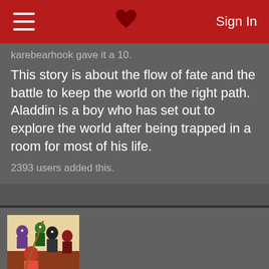Sign In
karebearhook gave it a 10.
This story is about the flow of fate and the battle to keep the world on the right path. Aladdin is a boy who has set out to explore the world after being trapped in a room for most of his life.
2393 users added this.
[Figure (illustration): Anime illustration showing multiple characters from Magi The Labyrinth of Magic]
Magi The Labyrinth of Magic [TV]
karebearhook gave it a 10.
This story is about the flow of fate and the battle to keep the world on the right path. Aladdin is a boy who...